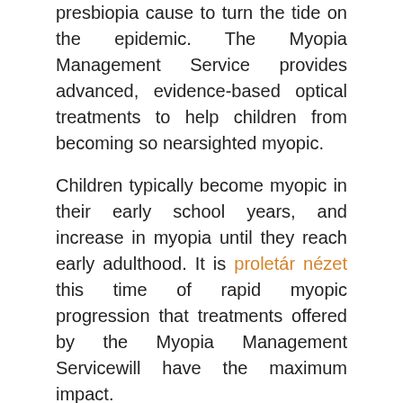presbiopia cause to turn the tide on the epidemic. The Myopia Management Service provides advanced, evidence-based optical treatments to help children from becoming so nearsighted myopic.
Children typically become myopic in their early school years, and increase in myopia until they reach early adulthood. It is proletár nézet this time of rapid myopic progression that treatments offered by the Myopia Management Servicewill have the maximum impact.
Így működik az egészséges szem
Feb 26, · Myopia, her fourth album, represents a new peak for her lush melancholy. Jan 29, · Limited outdoor activity and extended periods of